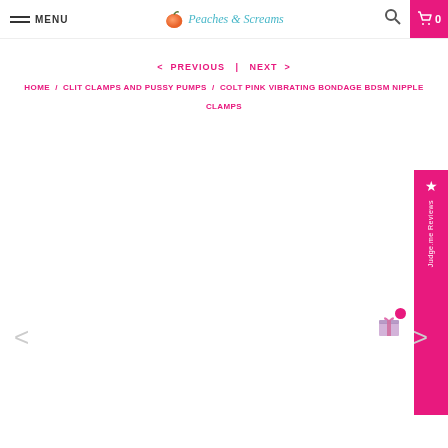MENU | Peaches & Screams | Search | Cart 0
< PREVIOUS | NEXT >
HOME / CLIT CLAMPS AND PUSSY PUMPS / COLT PINK VIBRATING BONDAGE BDSM NIPPLE CLAMPS
[Figure (screenshot): Side badge with star and Judge.me Reviews text on pink background]
[Figure (illustration): Gift icon with pink dot badge]
< (left arrow navigation)
> (right arrow navigation)